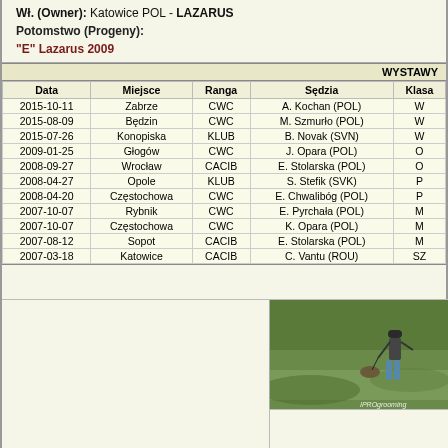Wł. (Owner): Katowice POL - LAZARUS
Potomstwo (Progeny):
"E" Lazarus 2009
| Data | Miejsce | Ranga | Sędzia | Klasa |
| --- | --- | --- | --- | --- |
| 2015-10-11 | Zabrze | CWC | A. Kochan (POL) | W |
| 2015-08-09 | Będzin | CWC | M. Szmurło (POL) | W |
| 2015-07-26 | Konopiska | KLUB | B. Novak (SVN) | W |
| 2009-01-25 | Głogów | CWC | J. Opara (POL) | O |
| 2008-09-27 | Wrocław | CACIB | E. Stolarska (POL) | O |
| 2008-04-27 | Opole | KLUB | S. Stefik (SVK) | P |
| 2008-04-20 | Częstochowa | CWC | E. Chwalibóg (POL) | P |
| 2007-10-07 | Rybnik | CWC | E. Pyrchała (POL) | M |
| 2007-10-07 | Częstochowa | CWC | K. Opara (POL) | M |
| 2007-08-12 | Sopot | CACIB | E. Stolarska (POL) | M |
| 2007-03-18 | Katowice | CACIB | C. Vantu (ROU) | SZ |
[Figure (photo): Person handling a dog at a dog show, outdoors on grass, with IPROgrooming watermark]